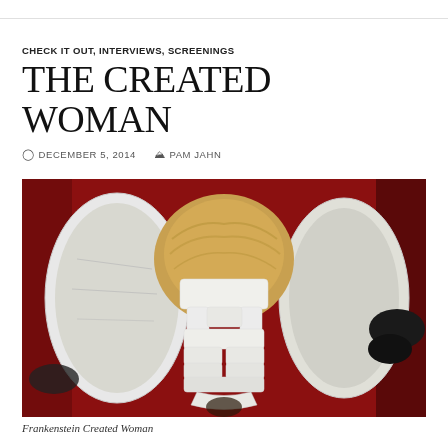CHECK IT OUT, INTERVIEWS, SCREENINGS
THE CREATED WOMAN
DECEMBER 5, 2014  PAM JAHN
[Figure (photo): Scene from Frankenstein Created Woman showing a woman with blonde hair lying down, surrounded by white cast/mold pieces being opened, against a red background]
Frankenstein Created Woman